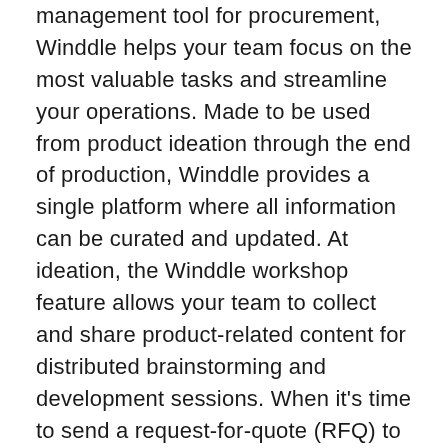management tool for procurement, Winddle helps your team focus on the most valuable tasks and streamline your operations. Made to be used from product ideation through the end of production, Winddle provides a single platform where all information can be curated and updated. At ideation, the Winddle workshop feature allows your team to collect and share product-related content for distributed brainstorming and development sessions. When it's time to send a request-for-quote (RFQ) to your suppliers, send them through Winddle and easily compare quotes side-by-side. During product development, Winddle lets you track your progress and set tasks and sub-tasks to keep you and your team on track.
One Winddle customer enjoyed 40 percent lower email volume following implementation — by consolidating all internal and external procurement or product-related communication in a single platform, Winddle helps keep your team focused and on top of all issues before they